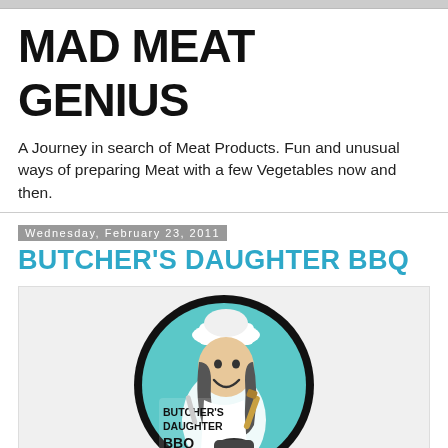MAD MEAT GENIUS
A Journey in search of Meat Products. Fun and unusual ways of preparing Meat with a few Vegetables now and then.
Wednesday, February 23, 2011
BUTCHER'S DAUGHTER BBQ
[Figure (illustration): Circular logo for Butcher's Daughter BBQ showing a cartoon woman in a chef's hat holding BBQ tools, with text 'BUTCHER'S DAUGHTER BBQ' on a teal/turquoise background inside a thick black circle border.]